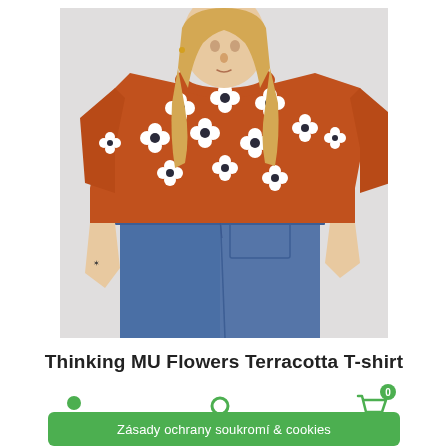[Figure (photo): Woman wearing an orange/terracotta t-shirt with white flower pattern, paired with blue high-waisted jeans. Light grey background. Product photo for clothing retailer.]
Thinking MU Flowers Terracotta T-shirt
[Figure (screenshot): Website footer bar with three green icons (user profile, search, shopping cart with 0 badge) and a green cookie consent banner reading 'Zasady ochrany soukromi & cookies']
Zásady ochrany soukromí & cookies